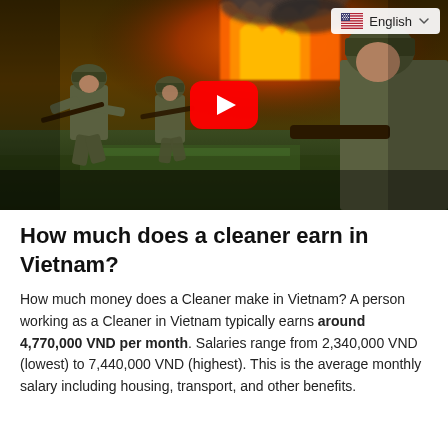[Figure (screenshot): YouTube video thumbnail showing soldiers running in a field with fire and smoke in the background, with a red YouTube play button overlay and English language selector in the top right corner.]
How much does a cleaner earn in Vietnam?
How much money does a Cleaner make in Vietnam? A person working as a Cleaner in Vietnam typically earns around 4,770,000 VND per month. Salaries range from 2,340,000 VND (lowest) to 7,440,000 VND (highest). This is the average monthly salary including housing, transport, and other benefits.